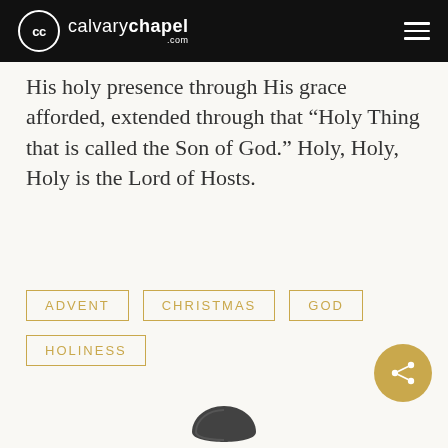calvarychapel.com
His holy presence through His grace afforded, extended through that “Holy Thing that is called the Son of God.” Holy, Holy, Holy is the Lord of Hosts.
Advent
Christmas
God
Holiness
[Figure (logo): Calvary Chapel logo at bottom of page]